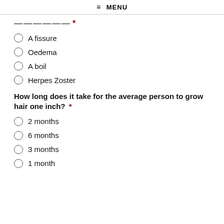≡ MENU
—————  *
A fissure
Oedema
A boil
Herpes Zoster
How long does it take for the average person to grow hair one inch? *
2 months
6 months
3 months
1 month